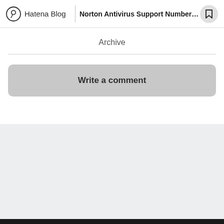Hatena Blog | Norton Antivirus Support Number -...
Archive
Write a comment